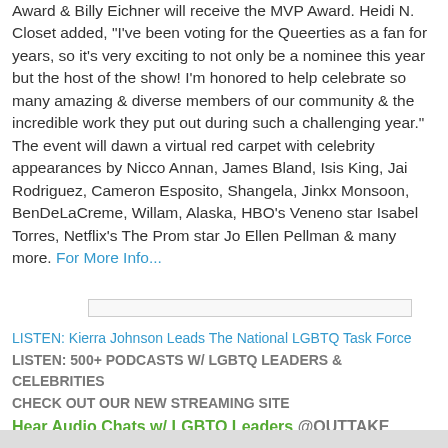Award & Billy Eichner will receive the MVP Award. Heidi N. Closet added, "I've been voting for the Queerties as a fan for years, so it's very exciting to not only be a nominee this year but the host of the show! I'm honored to help celebrate so many amazing & diverse members of our community & the incredible work they put out during such a challenging year." The event will dawn a virtual red carpet with celebrity appearances by Nicco Annan, James Bland, Isis King, Jai Rodriguez, Cameron Esposito, Shangela, Jinkx Monsoon, BenDeLaCreme, Willam, Alaska, HBO's Veneno star Isabel Torres, Netflix's The Prom star Jo Ellen Pellman & many more. For More Info...
LISTEN: Kierra Johnson Leads The National LGBTQ Task Force
LISTEN: 500+ Podcasts w/ LGBTQ Leaders & Celebrities
CHECK OUT OUR NEW STREAMING SITE
Hear Audio Chats w/ LGBTQ Leaders @OUTTAKE VOICES™
SUPPORT OUTTAKE™ @ OUR EQUALITY STORE